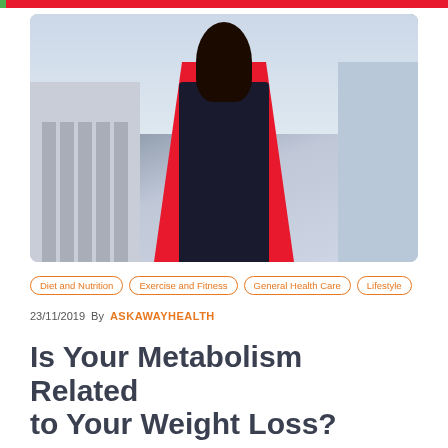[Figure (photo): A woman wearing a red blazer and black dress standing on a city street with classical buildings and skyscrapers in the background.]
Diet and Nutrition  Exercise and Fitness  General Health Care  Lifestyle
23/11/2019  By  ASKAWAYHEALTH
Is Your Metabolism Related to Your Weight Loss?